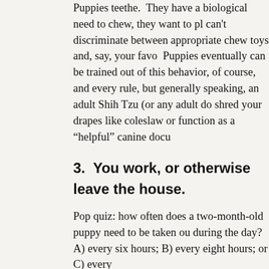Puppies teethe.  They have a biological need to chew, they want to pl can't discriminate between appropriate chew toys and, say, your favo  Puppies eventually can be trained out of this behavior, of course, and every rule, but generally speaking, an adult Shih Tzu (or any adult do shred your drapes like coleslaw or function as a "helpful" canine docu
3.  You work, or otherwise leave the house.
Pop quiz: how often does a two-month-old puppy need to be taken ou during the day?  A) every six hours; B) every eight hours; or C) every
If you answered B, or even A, you're an eternal optimist! The correct every two hours. When you're housetraining a puppy, the general rule can hold their bladder one hour for each month they've been alive (up to ten hours).  So a three-month-old Shih Tzu puppy needs to go outs four-month-old needs to go every four hours, and so on.  If you're reti home, or you're taking the puppy to work with you or to a doggy dayc puppy is up-to-date on all vaccines before considering that last option planning on leaving your dog alone during your workday, you'll definit grown dog, ideally from a Shih Tzu rescue that can help you find the n lifestyle.